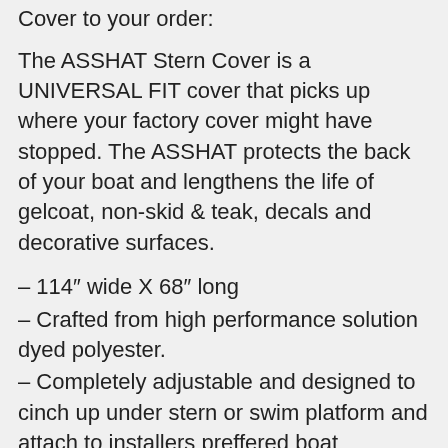Cover to your order:
The ASSHAT Stern Cover is a UNIVERSAL FIT cover that picks up where your factory cover might have stopped. The ASSHAT protects the back of your boat and lengthens the life of gelcoat, non-skid & teak, decals and decorative surfaces.
– 114″ wide X 68″ long
– Crafted from high performance solution dyed polyester.
– Completely adjustable and designed to cinch up under stern or swim platform and attach to installers preffered boat hardware on the gunnel of boat, boat lift or trailer.
– Tightness applied by installer determines the strength of hold. Adaptable to many sizes and setups of boat.
–